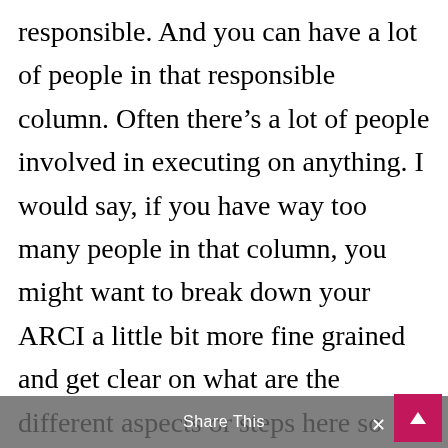responsible. And you can have a lot of people in that responsible column. Often there's a lot of people involved in executing on anything. I would say, if you have way too many people in that column, you might want to break down your ARCI a little bit more fine grained and get clear on what are the different aspects or steps here so that again, you can be really clear who's doing what. So responsible means I am doing it. I'm getting it done. I am raising my hand and saying, “I'm actually accountable to you guys and to myself fo
Share This